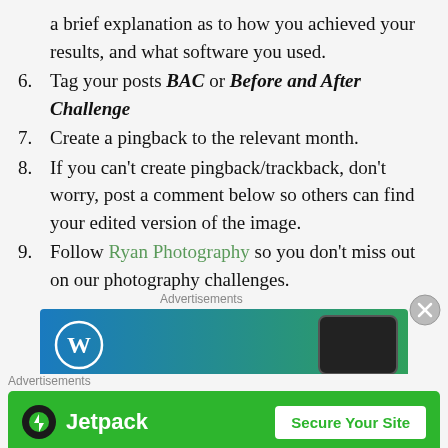a brief explanation as to how you achieved your results, and what software you used.
6. Tag your posts BAC or Before and After Challenge
7. Create a pingback to the relevant month.
8. If you can’t create pingback/trackback, don’t worry, post a comment below so others can find your edited version of the image.
9. Follow Ryan Photography so you don’t miss out on our photography challenges.
[Figure (screenshot): Advertisements banner with WordPress logo and phone image (blue-green gradient)]
[Figure (screenshot): Advertisements banner: Jetpack - Secure Your Site (green background)]